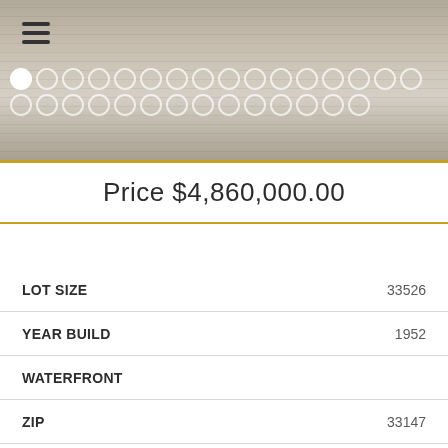[Figure (photo): Outdoor landscape/driveway photo used as header image with hamburger menu icon and carousel dots]
Price $4,860,000.00
| Field | Value |
| --- | --- |
| LOT SIZE | 33526 |
| YEAR BUILD | 1952 |
| WATERFRONT |  |
| ZIP | 33147 |
| STYLE |  |
| PARKING DESCRIPTION |  |
| POOL | YES |
| STATUS | ACTIVE WITH CONTRACT |